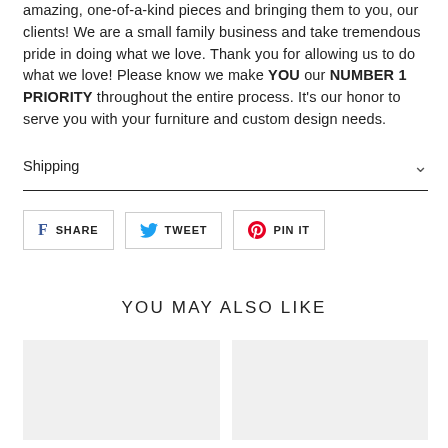amazing, one-of-a-kind pieces and bringing them to you, our clients! We are a small family business and take tremendous pride in doing what we love. Thank you for allowing us to do what we love! Please know we make YOU our NUMBER 1 PRIORITY throughout the entire process. It's our honor to serve you with your furniture and custom design needs.
Shipping
[Figure (other): Social sharing buttons: SHARE (Facebook), TWEET (Twitter), PIN IT (Pinterest)]
YOU MAY ALSO LIKE
[Figure (other): Two product image placeholder cards side by side]